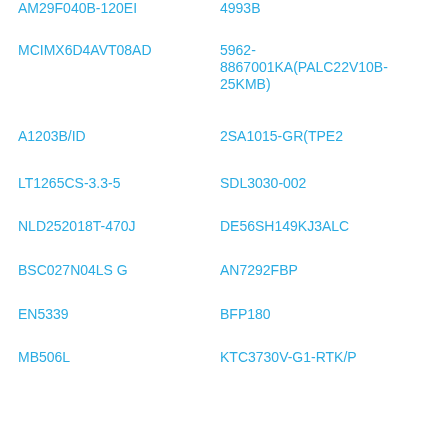AM29F040B-120EI	4993B
MCIMX6D4AVT08AD	5962-8867001KA(PALC22V10B-25KMB)
A1203B/ID	2SA1015-GR(TPE2
LT1265CS-3.3-5	SDL3030-002
NLD252018T-470J	DE56SH149KJ3ALC
BSC027N04LS G	AN7292FBP
EN5339	BFP180
MB506L	KTC3730V-G1-RTK/P